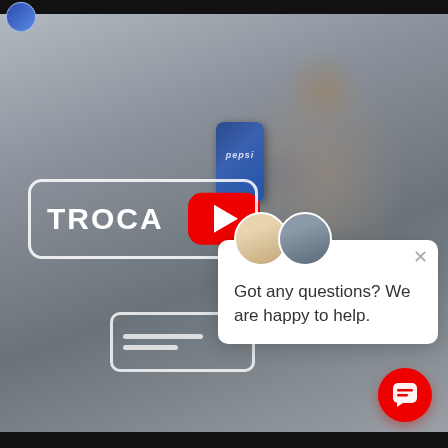[Figure (screenshot): Screenshot of a YouTube video embed showing a young man drinking a Pepsi can, with a white outlined box overlay containing the text 'TROCA', a YouTube play button in the center, and a white chat popup overlay in the bottom-right with avatars and the message 'Got any questions? We are happy to help.' A red floating chat button is in the bottom-right corner.]
TROCA
Got any questions? We are happy to help.